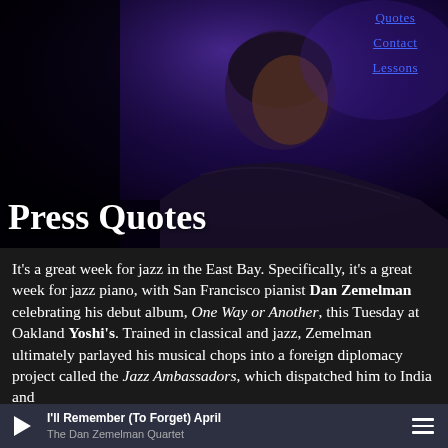[Figure (photo): Dark moody photo of a jazz pianist (Dan Zemelman) leaning over a piano, lit with purple/blue stage lighting. Navigation links 'Quotes', 'Contact', 'Lessons' visible in upper right.]
Press Quotes
It’s a great week for jazz in the East Bay. Specifically, it’s a great week for jazz piano, with San Francisco pianist Dan Zemelman celebrating his debut album, One Way or Another, this Tuesday at Oakland Yoshi’s. Trained in classical and jazz, Zemelman ultimately parlayed his musical chops into a foreign diplomacy project called the Jazz Ambassadors, which dispatched him to India and
I’ll Remember (To Forget) April
The Dan Zemelman Quartet